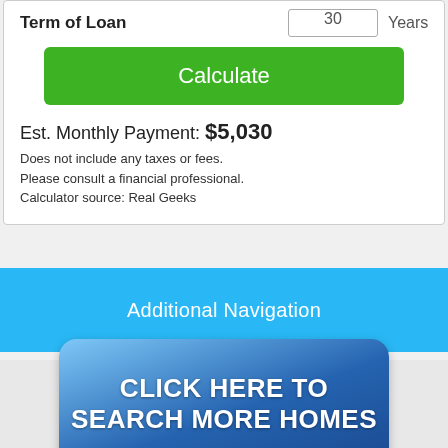Term of Loan | 30 | Years
Calculate
Est. Monthly Payment: $5,030
Does not include any taxes or fees.
Please consult a financial professional.
Calculator source: Real Geeks
Additional Navigation
[Figure (illustration): Blue rounded rectangle button reading CLICK HERE TO SEARCH MORE HOMES in bold white text]